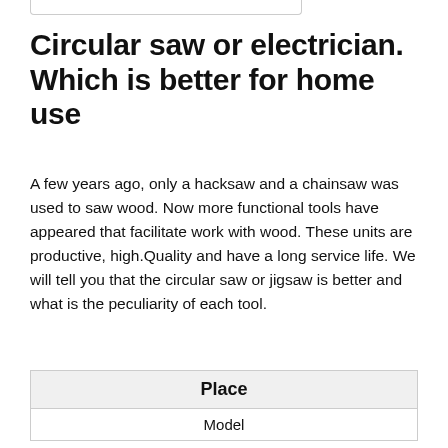Circular saw or electrician. Which is better for home use
A few years ago, only a hacksaw and a chainsaw was used to saw wood. Now more functional tools have appeared that facilitate work with wood. These units are productive, high.Quality and have a long service life. We will tell you that the circular saw or jigsaw is better and what is the peculiarity of each tool.
| Place |
| --- |
| Model |